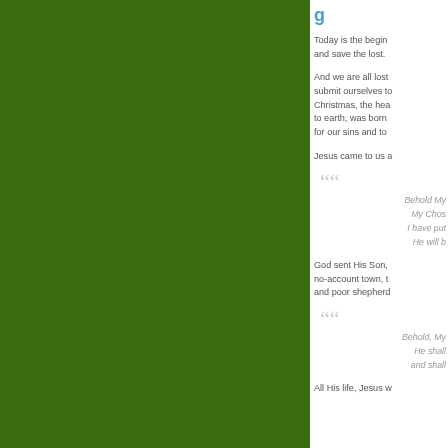[Figure (photo): Dark green background panel occupying the left ~69% of the page]
g...
Today is the begin... and save the lost.
And we are all lost... submit ourselves to... Christmas, the hea... to earth, was born... for our sins and to...
Jesus came to us a...
Behold My... My Chos... I have put... He will b...
God sent His Son,... no-account town, t... and poor shepherd...
Behold, My... He shall... and shall...
All His life, Jesus w...